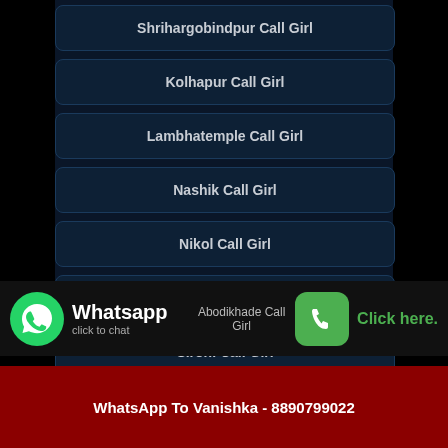Shrihargobindpur Call Girl
Kolhapur Call Girl
Lambhatemple Call Girl
Nashik Call Girl
Nikol Call Girl
Nashik Call Girl
Sirohi Call Girl
Whatsapp click to chat
Abodikhade Call Girl
Click here.
Call Vanishka Now - 8890799022
WhatsApp To Vanishka - 8890799022